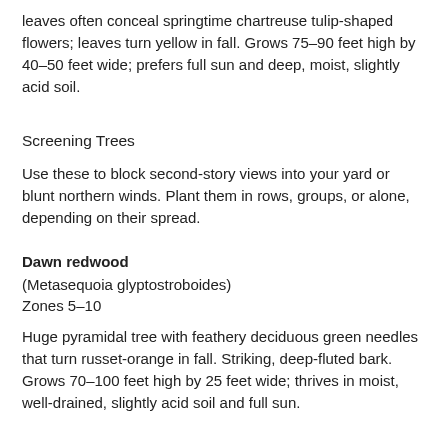leaves often conceal springtime chartreuse tulip-shaped flowers; leaves turn yellow in fall. Grows 75–90 feet high by 40–50 feet wide; prefers full sun and deep, moist, slightly acid soil.
Screening Trees
Use these to block second-story views into your yard or blunt northern winds. Plant them in rows, groups, or alone, depending on their spread.
Dawn redwood
(Metasequoia glyptostroboides)
Zones 5–10
Huge pyramidal tree with feathery deciduous green needles that turn russet-orange in fall. Striking, deep-fluted bark. Grows 70–100 feet high by 25 feet wide; thrives in moist, well-drained, slightly acid soil and full sun.